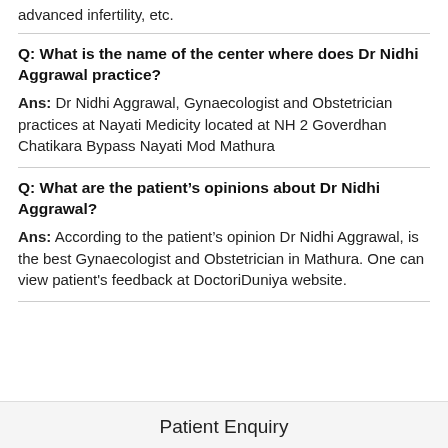advanced infertility, etc.
Q: What is the name of the center where does Dr Nidhi Aggrawal practice?
Ans: Dr Nidhi Aggrawal, Gynaecologist and Obstetrician practices at Nayati Medicity located at NH 2 Goverdhan Chatikara Bypass Nayati Mod Mathura
Q: What are the patient's opinions about Dr Nidhi Aggrawal?
Ans: According to the patient's opinion Dr Nidhi Aggrawal, is the best Gynaecologist and Obstetrician in Mathura. One can view patient's feedback at DoctoriDuniya website.
Patient Enquiry